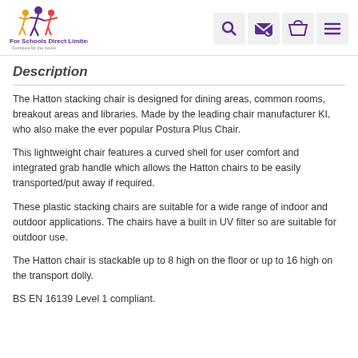For Schools Direct Limited - Furniture for the future
Description
The Hatton stacking chair is designed for dining areas, common rooms, breakout areas and libraries. Made by the leading chair manufacturer KI, who also make the ever popular Postura Plus Chair.
This lightweight chair features a curved shell for user comfort and integrated grab handle which allows the Hatton chairs to be easily transported/put away if required.
These plastic stacking chairs are suitable for a wide range of indoor and outdoor applications. The chairs have a built in UV filter so are suitable for outdoor use.
The Hatton chair is stackable up to 8 high on the floor or up to 16 high on the transport dolly.
BS EN 16139 Level 1 compliant.